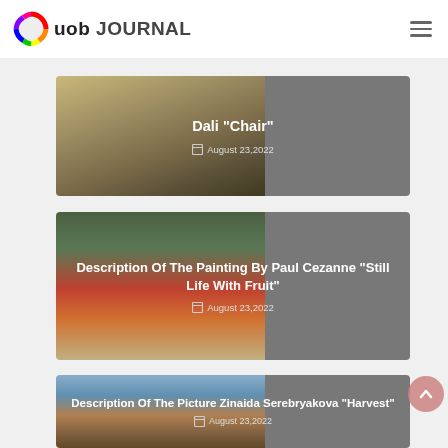uob JOURNAL
[Figure (photo): Article card with painting image on left and gray overlay on right showing title 'Dali "Chair"' and date August 23,2022]
Dali "Chair"
August 23,2022
[Figure (photo): Article card with Paul Cezanne Still Life painting on left and gray overlay on right showing title and date]
Description Of The Painting By Paul Cezanne “Still Life With Fruit”
August 23,2022
[Figure (photo): Article card with Zinaida Serebryakova Harvest painting on left and gray overlay on right showing partial title and date]
Description Of The Picture Zinaida Serebryakova "Harvest"
August 23,2022